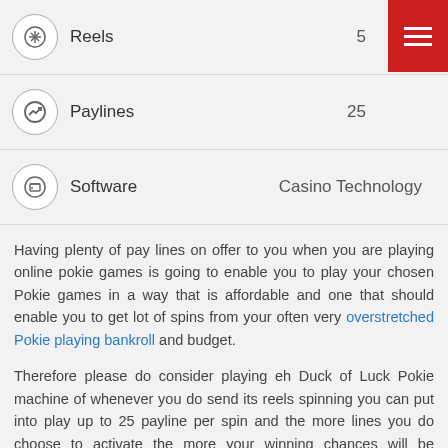|  | Label | Value |
| --- | --- | --- |
| [reel icon] | Reels | 5 |
| [payline icon] | Paylines | 25 |
| [software icon] | Software | Casino Technology |
Having plenty of pay lines on offer to you when you are playing online pokie games is going to enable you to play your chosen Pokie games in a way that is affordable and one that should enable you to get lot of spins from your often very overstretched Pokie playing bankroll and budget.
Therefore please do consider playing eh Duck of Luck Pokie machine of whenever you do send its reels spinning you can put into play up to 25 payline per spin and the more lines you do choose to activate the more your winning chances will be increased by!
You will also be pleased to learn that when playing the Duck of Luck